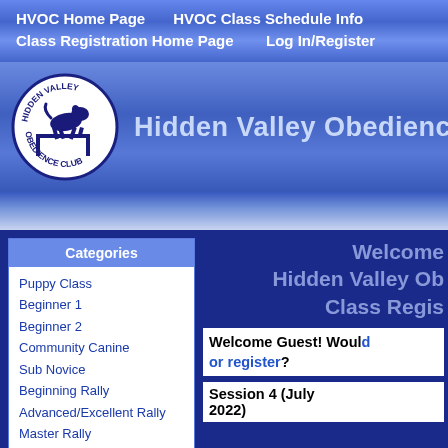HVOC Home Page   HVOC Class Schedule Info   Class Registration Home Page   Log In/Register
[Figure (logo): Hidden Valley Obedience Club circular logo with a dog jumping over a hurdle]
Hidden Valley Obedience Club
Categories
Puppy Class
Beginner 1
Beginner 2
Community Canine
Sub Novice
Beginning Rally
Advanced/Excellent Rally
Master Rally
Welcome Hidden Valley Obedience Club Class Registration
Welcome Guest! Would you like to log in or register?
Session 4 (July 2022)